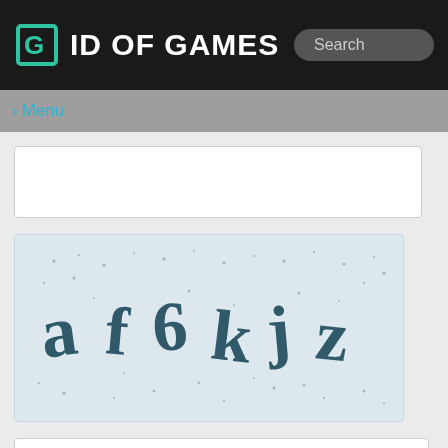ID OF GAMES
Menu
[Figure (illustration): CAPTCHA image with stylized text characters on a light blue-grey background with scattered dot noise]
Code
Submit
Contacts
Materials are provided for your reference only!